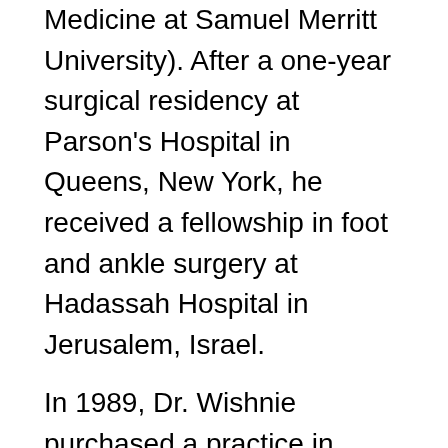Medicine at Samuel Merritt University). After a one-year surgical residency at Parson's Hospital in Queens, New York, he received a fellowship in foot and ankle surgery at Hadassah Hospital in Jerusalem, Israel. In 1989, Dr. Wishnie purchased a practice in Piscataway, New Jersey. Since then he's opened a second practice in Hillsborough, New Jersey and has three associates. He's a student of personal development and is a John Maxwell certified leadership coach. Dr. Wishnie is the Director of Physician Programming at Top Practices, an organization